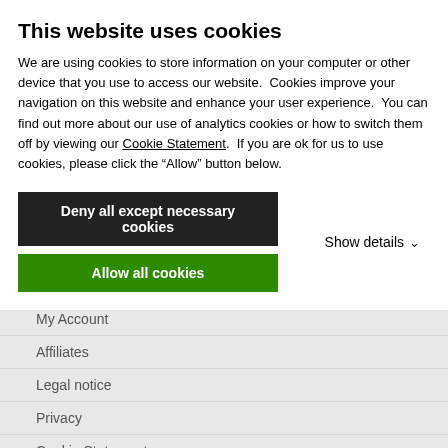This website uses cookies
We are using cookies to store information on your computer or other device that you use to access our website.  Cookies improve your navigation on this website and enhance your user experience.  You can find out more about our use of analytics cookies or how to switch them off by viewing our Cookie Statement.  If you are ok for us to use cookies, please click the “Allow” button below.
Deny all except necessary cookies
Allow all cookies
Show details
Find Locally
My Account
Affiliates
Legal notice
Privacy
Cookie Statement